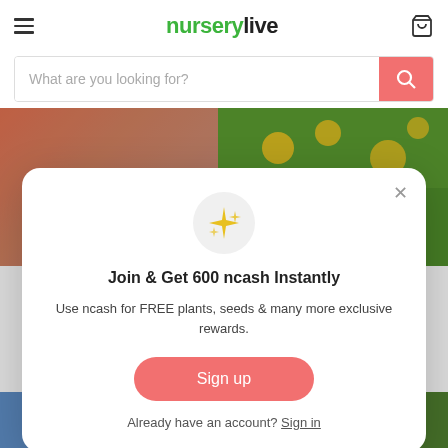nurserylive — header with hamburger menu, logo, and cart icon
What are you looking for?
[Figure (screenshot): Background product images: left panel shows flowers/plants on brick, right panel shows green plants with yellow flowers]
Join & Get 600 ncash Instantly
Use ncash for FREE plants, seeds & many more exclusive rewards.
Sign up
Already have an account? Sign in